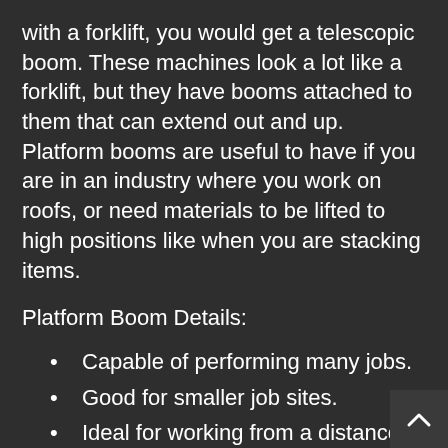with a forklift, you would get a telescopic boom. These machines look a lot like a forklift, but they have booms attached to them that can extend out and up. Platform booms are useful to have if you are in an industry where you work on roofs, or need materials to be lifted to high positions like when you are stacking items.
Platform Boom Details:
Capable of performing many jobs.
Good for smaller job sites.
Ideal for working from a distance.
Great for increasing your speed and rate of production.
Good for working on rough terrain.